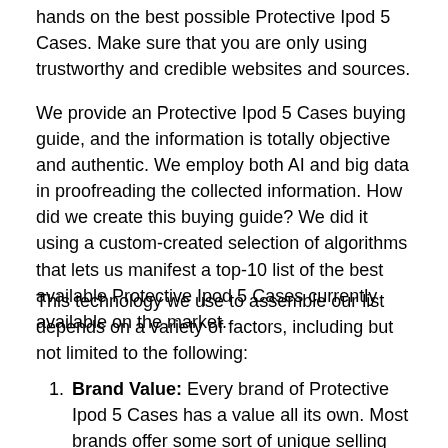hands on the best possible Protective Ipod 5 Cases. Make sure that you are only using trustworthy and credible websites and sources.
We provide an Protective Ipod 5 Cases buying guide, and the information is totally objective and authentic. We employ both AI and big data in proofreading the collected information. How did we create this buying guide? We did it using a custom-created selection of algorithms that lets us manifest a top-10 list of the best available Protective Ipod 5 Cases currently available on the market.
This technology we use to assemble our list depends on a variety of factors, including but not limited to the following:
Brand Value: Every brand of Protective Ipod 5 Cases has a value all its own. Most brands offer some sort of unique selling proposition that's supposed to bring